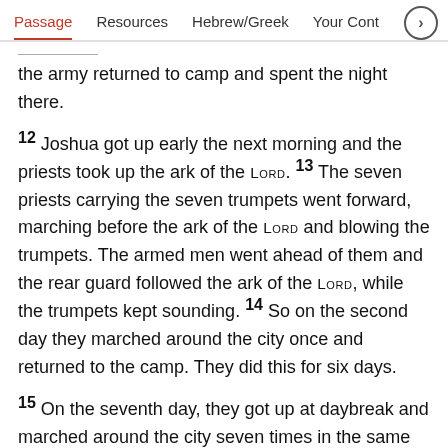Passage | Resources | Hebrew/Greek | Your Cont >
the army returned to camp and spent the night there.
12 Joshua got up early the next morning and the priests took up the ark of the LORD. 13 The seven priests carrying the seven trumpets went forward, marching before the ark of the LORD and blowing the trumpets. The armed men went ahead of them and the rear guard followed the ark of the LORD, while the trumpets kept sounding. 14 So on the second day they marched around the city once and returned to the camp. They did this for six days.
15 On the seventh day, they got up at daybreak and marched around the city seven times in the same manner, except that on that day they circled